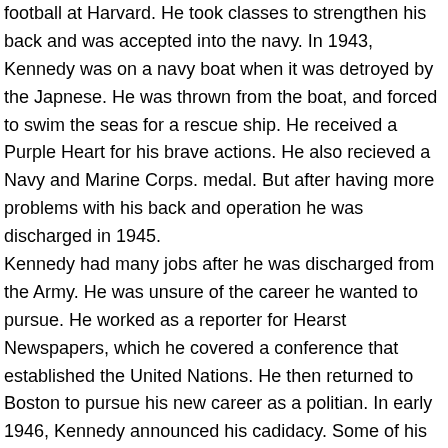football at Harvard. He took classes to strengthen his back and was accepted into the navy. In 1943, Kennedy was on a navy boat when it was detroyed by the Japnese. He was thrown from the boat, and forced to swim the seas for a rescue ship. He received a Purple Heart for his brave actions. He also recieved a Navy and Marine Corps. medal. But after having more problems with his back and operation he was discharged in 1945.
Kennedy had many jobs after he was discharged from the Army. He was unsure of the career he wanted to pursue. He worked as a reporter for Hearst Newspapers, which he covered a conference that established the United Nations. He then returned to Boston to pursue his new career as a politian. In early 1946, Kennedy announced his cadidacy. Some of his rivals called him a "carpetbagger", a person who